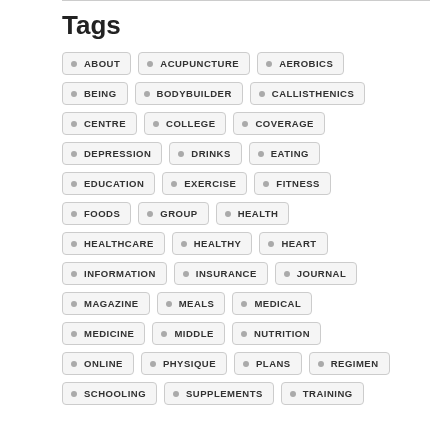Tags
ABOUT
ACUPUNCTURE
AEROBICS
BEING
BODYBUILDER
CALLISTHENICS
CENTRE
COLLEGE
COVERAGE
DEPRESSION
DRINKS
EATING
EDUCATION
EXERCISE
FITNESS
FOODS
GROUP
HEALTH
HEALTHCARE
HEALTHY
HEART
INFORMATION
INSURANCE
JOURNAL
MAGAZINE
MEALS
MEDICAL
MEDICINE
MIDDLE
NUTRITION
ONLINE
PHYSIQUE
PLANS
REGIMEN
SCHOOLING
SUPPLEMENTS
TRAINING